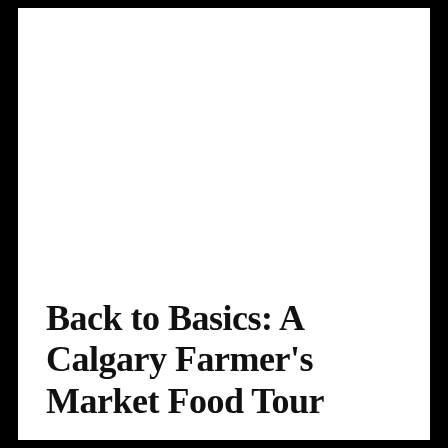Back to Basics: A Calgary Farmer's Market Food Tour